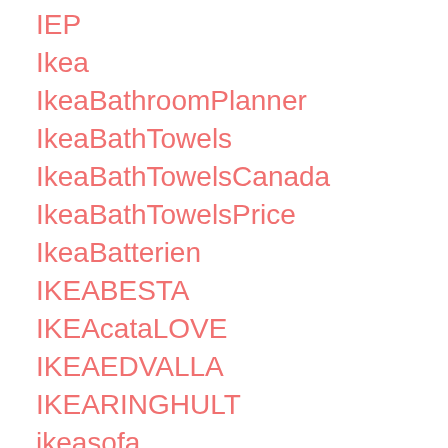IEP
Ikea
IkeaBathroomPlanner
IkeaBathTowels
IkeaBathTowelsCanada
IkeaBathTowelsPrice
IkeaBatterien
IKEABESTA
IKEAcataLOVE
IKEAEDVALLA
IKEARINGHULT
ikeasofa
ikeausa
ILETransit25L
imaginativeplay